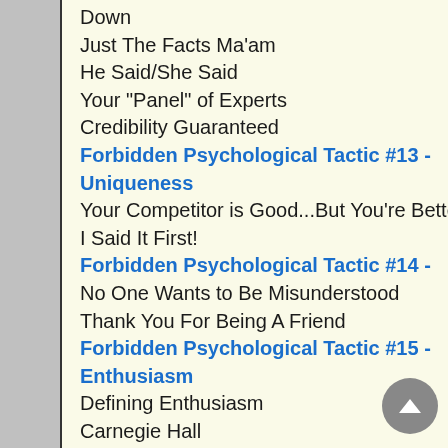Down
Just The Facts Ma'am
He Said/She Said
Your "Panel" of Experts
Credibility Guaranteed
Forbidden Psychological Tactic #13 - Uniqueness
Your Competitor is Good...But You're Better!
I Said It First!
Forbidden Psychological Tactic #14 -
No One Wants to Be Misunderstood
Thank You For Being A Friend
Forbidden Psychological Tactic #15 - Enthusiasm
Defining Enthusiasm
Carnegie Hall
Be Passionate...Be Real...Be Successful AND Happy
Forbidden Psychological Tactic #16 -
A Double Whammy
I Need It Now
I Want It Now
Forbidden Psychological Tactic #17 - Specificity
I've Got Your Number
The Magic Number
Winners and Losers
Are You Talking to ME?